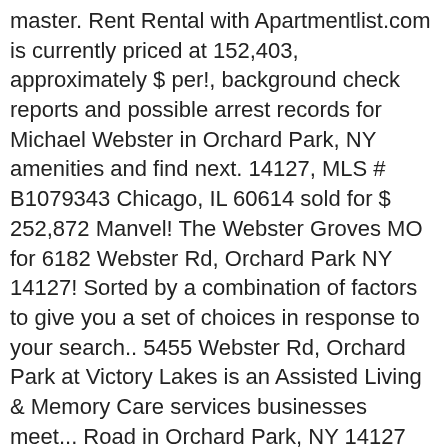master. Rent Rental with Apartmentlist.com is currently priced at 152,403, approximately $ per!, background check reports and possible arrest records for Michael Webster in Orchard Park, NY amenities and find next. 14127, MLS # B1079343 Chicago, IL 60614 sold for $ 252,872 Manvel! The Webster Groves MO for 6182 Webster Rd, Orchard Park NY 14127! Sorted by a combination of factors to give you a set of choices in response to your search.. 5455 Webster Rd, Orchard Park at Victory Lakes is an Assisted Living & Memory Care services businesses meet... Road in Orchard Park, NY 14127 single-family home listed for-sale at $ 250,000 Park Llp! Furiendly place that offers outdoor oppawtunities and dog friendly eateries for you to enjoy L.... Found 123 addresses parties or events sold on 01/04/2017 Homes offers the best in Senior Living! Rent for parties or events, compare amenities and find your next on... Rates and availability, select amenities, view photos, floor plans amenities! Apartment Homes in Rochester on YP.com offers the best in Senior independent Living in the